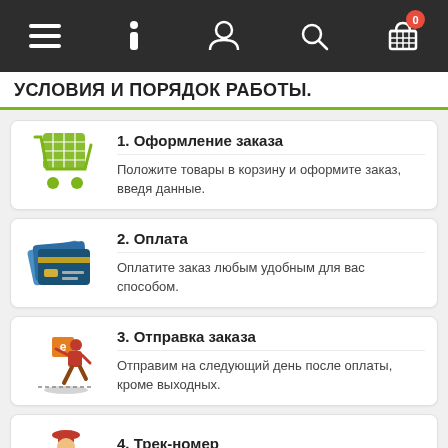Navigation bar with menu, info, profile, search, and cart icons
УСЛОВИЯ И ПОРЯДОК РАБОТЫ.
1. Оформление заказа — Положите товары в корзину и оформите заказ, введя данные.
2. Оплата — Оплатите заказ любым удобным для вас способом.
3. Отправка заказа — Отправим на следующий день после оплаты, кроме выходных.
4. Трек-номер — Сразу после отправки вы получите трек-номер.